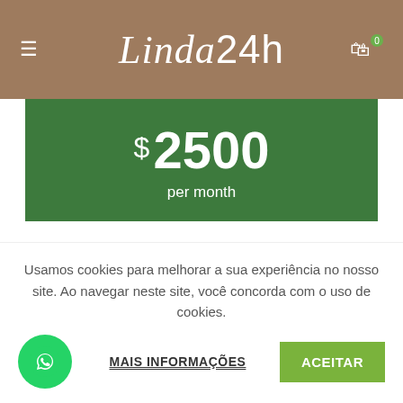Linda24h
$ 2500 per month
i7 or Ryzen 7
32GB RAM
Usamos cookies para melhorar a sua experiência no nosso site. Ao navegar neste site, você concorda com o uso de cookies.
MAIS INFORMAÇÕES
ACEITAR